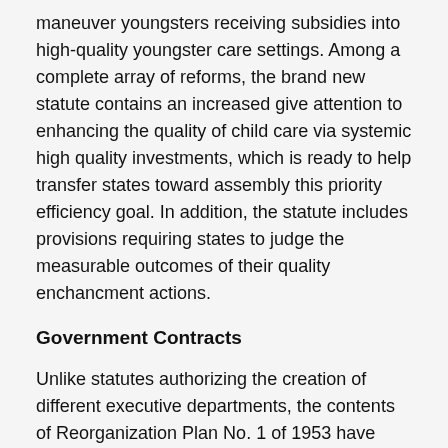maneuver youngsters receiving subsidies into high-quality youngster care settings. Among a complete array of reforms, the brand new statute contains an increased give attention to enhancing the quality of child care via systemic high quality investments, which is ready to help transfer states toward assembly this priority efficiency goal. In addition, the statute includes provisions requiring states to judge the measurable outcomes of their quality enchancment actions.
Government Contracts
Unlike statutes authorizing the creation of different executive departments, the contents of Reorganization Plan No. 1 of 1953 have been never properly codified throughout the United States Code, although Congress did codify a later statute ratifying the Plan. The result's that HHS is the one executive division whose statutory foundation at present rests on a confusing combination of several codified and uncodified statutes. For authorities departments by that name in other jurisdictions, see Department of Health and Human Services